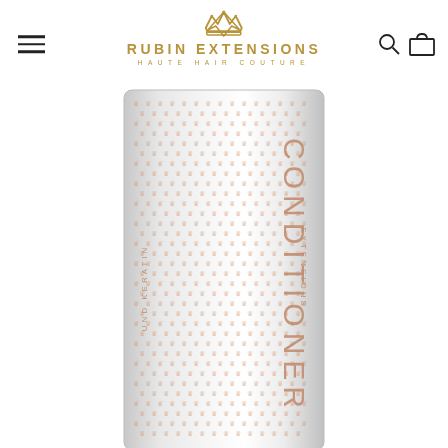[Figure (logo): Rubin Extensions Haute Hair Couture logo with gold crown icon and gold text]
[Figure (photo): A tall cylindrical conditioner bottle with a silver/white label featuring repeating rose-gold crown pattern. Text on the bottle reads CONDITIONER, EXTENSIONS, UND KERATIN in rose-gold lettering.]